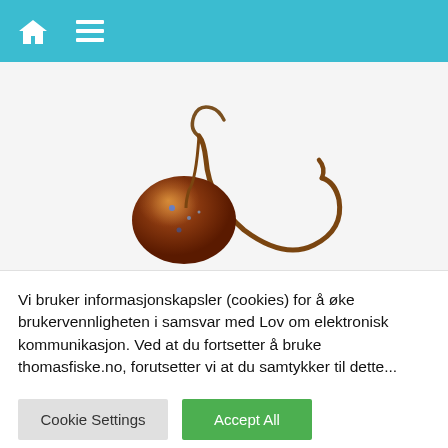[Figure (photo): Fishing jig lure with a reddish-brown metallic head and a curved hook against a white background]
Vi bruker informasjonskapsler (cookies) for å øke brukervennligheten i samsvar med Lov om elektronisk kommunikasjon. Ved at du fortsetter å bruke thomasfiske.no, forutsetter vi at du samtykker til dette...
Cookie Settings
Accept All